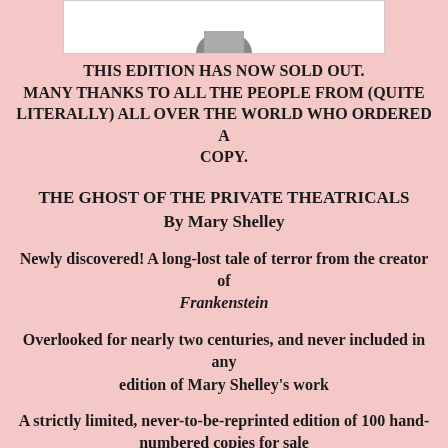[Figure (illustration): Partial image at top of page, cropped, showing bottom portion of a book cover or illustration on white background]
THIS EDITION HAS NOW SOLD OUT. MANY THANKS TO ALL THE PEOPLE FROM (QUITE LITERALLY) ALL OVER THE WORLD WHO ORDERED A COPY.
THE GHOST OF THE PRIVATE THEATRICALS
By Mary Shelley
Newly discovered! A long-lost tale of terror from the creator of Frankenstein
Overlooked for nearly two centuries, and never included in any edition of Mary Shelley's work
A strictly limited, never-to-be-reprinted edition of 100 hand-numbered copies for sale
Each copy comes with an original, hand-printed linocut tipped